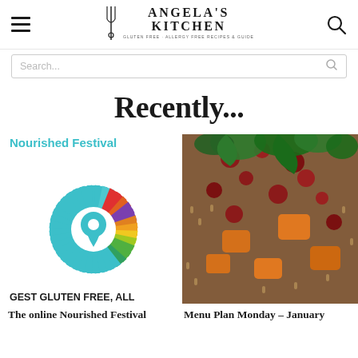Angela's Kitchen — Gluten Free, Allergy Free Recipes & Guide
Search...
Recently...
[Figure (logo): Nourished Festival colorful circular logo with spokes in rainbow colors and a teal location pin in center. Text: Nourished Festival. Below: GEST GLUTEN FREE, ALL ALTY DIET FESTIVAL IN TH]
[Figure (photo): Close-up photo of a grain salad with wild rice, roasted orange sweet potato cubes, dried cranberries, and fresh green herbs/lettuce leaves on a white plate.]
The online Nourished Festival
Menu Plan Monday – January